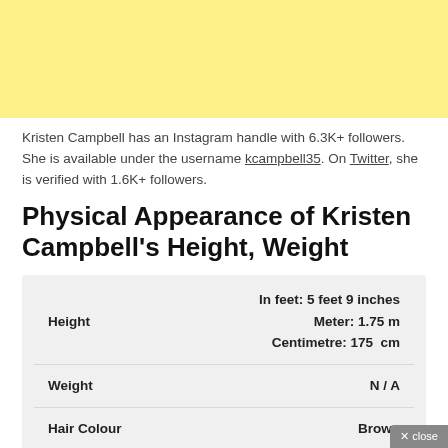[Figure (other): Yellow decorative banner at top of page]
Kristen Campbell has an Instagram handle with 6.3K+ followers. She is available under the username kcampbell35. On Twitter, she is verified with 1.6K+ followers.
Physical Appearance of Kristen Campbell's Height, Weight
|  |  |
| --- | --- |
| Height | In feet: 5 feet 9 inches
Meter: 1.75 m
Centimetre: 175  cm |
| Weight | N / A |
| Hair Colour | Brown |